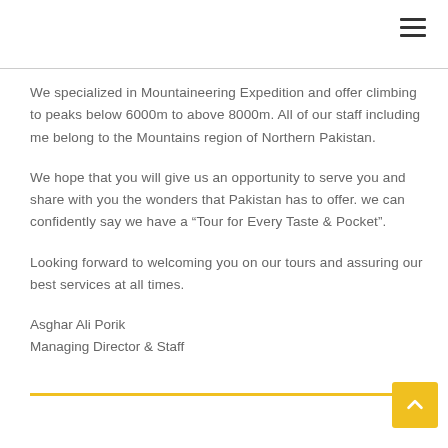☰
We specialized in Mountaineering Expedition and offer climbing to peaks below 6000m to above 8000m. All of our staff including me belong to the Mountains region of Northern Pakistan.
We hope that you will give us an opportunity to serve you and share with you the wonders that Pakistan has to offer. we can confidently say we have a “Tour for Every Taste & Pocket”.
Looking forward to welcoming you on our tours and assuring our best services at all times.
Asghar Ali Porik
Managing Director & Staff